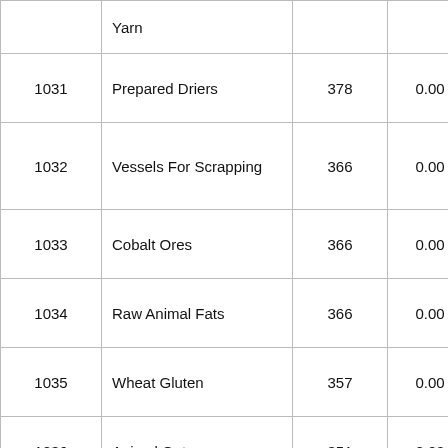|  | Yarn |  |  |  |
| --- | --- | --- | --- | --- |
| 1031 | Prepared Driers | 378 | 0.00 | 107.60 |
| 1032 | Vessels For Scrapping | 366 | 0.00 | -66.05 |
| 1033 | Cobalt Ores | 366 | 0.00 | 0.00 |
| 1034 | Raw Animal Fats | 366 | 0.00 | 572.50 |
| 1035 | Wheat Gluten | 357 | 0.00 | 116.06 |
| 1036 | Animal Guts | 351 | 0.00 | 116.19 |
| 1037 | Culture For Development of Microorganisms | 344 | 0.00 | 57.29 |
| 1038 | Tapioca | 342 | 0.00 | 157.02 |
|  |  |  |  |  |